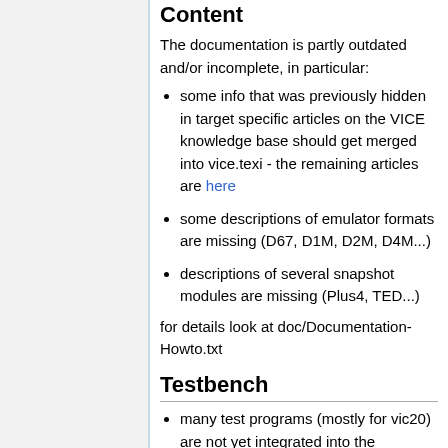Content
The documentation is partly outdated and/or incomplete, in particular:
some info that was previously hidden in target specific articles on the VICE knowledge base should get merged into vice.texi - the remaining articles are here
some descriptions of emulator formats are missing (D67, D1M, D2M, D4M...)
descriptions of several snapshot modules are missing (Plus4, TED...)
for details look at doc/Documentation-Howto.txt
Testbench
many test programs (mostly for vic20) are not yet integrated into the